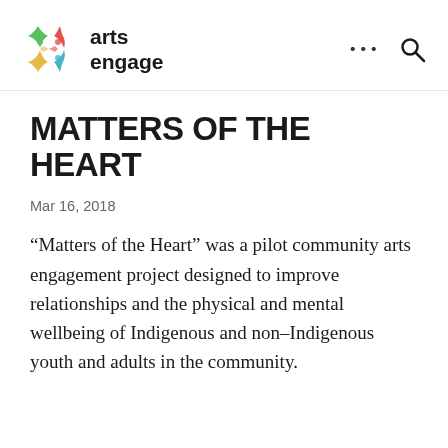[Figure (logo): Arts Engage logo with colorful X-shaped figure and text 'arts engage' in bold black]
MATTERS OF THE HEART
Mar 16, 2018
“Matters of the Heart” was a pilot community arts engagement project designed to improve relationships and the physical and mental wellbeing of Indigenous and non-Indigenous youth and adults in the community.